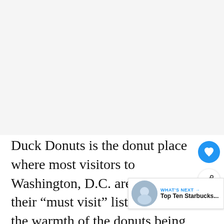[Figure (photo): Large image area placeholder (light gray background, likely a photo of Duck Donuts)]
Duck Donuts is the donut place where most visitors to Washington, D.C. area have on their “must visit” list. Between the warmth of the donuts being made per order and the friendly service, you can truly have it at Duck Donuts!
[Figure (screenshot): "WHAT'S NEXT" UI overlay with thumbnail image and text: Top Ten Starbucks...]